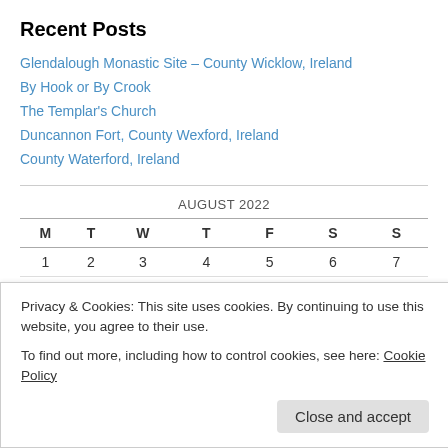Recent Posts
Glendalough Monastic Site – County Wicklow, Ireland
By Hook or By Crook
The Templar's Church
Duncannon Fort, County Wexford, Ireland
County Waterford, Ireland
| M | T | W | T | F | S | S |
| --- | --- | --- | --- | --- | --- | --- |
| 1 | 2 | 3 | 4 | 5 | 6 | 7 |
| 8 | 9 | 10 | 11 | 12 | 13 | 14 |
Privacy & Cookies: This site uses cookies. By continuing to use this website, you agree to their use.
To find out more, including how to control cookies, see here: Cookie Policy